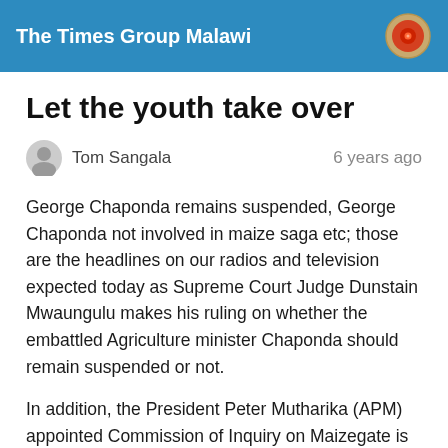The Times Group Malawi
Let the youth take over
Tom Sangala   6 years ago
George Chaponda remains suspended, George Chaponda not involved in maize saga etc; those are the headlines on our radios and television expected today as Supreme Court Judge Dunstain Mwaungulu makes his ruling on whether the embattled Agriculture minister Chaponda should remain suspended or not.
In addition, the President Peter Mutharika (APM) appointed Commission of Inquiry on Maizegate is supposed to finish its investigations on the same today.
Good day indeed for journalists and Malawians following